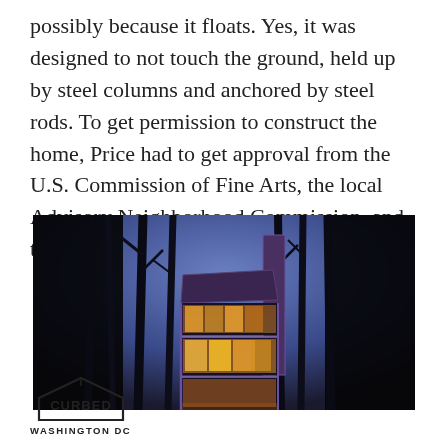possibly because it floats. Yes, it was designed to not touch the ground, held up by steel columns and anchored by steel rods. To get permission to construct the home, Price had to get approval from the U.S. Commission of Fine Arts, the local Advisory Neighborhood Commission, and the Army Corps of Engineers.
[Figure (photo): Nighttime photograph of a modernist multi-story glass house elevated among bare winter trees, lit warmly from within against a deep blue twilight sky.]
[Figure (logo): Curbed Washington DC logo — house outline with the word CURBED inside and WASHINGTON DC below.]